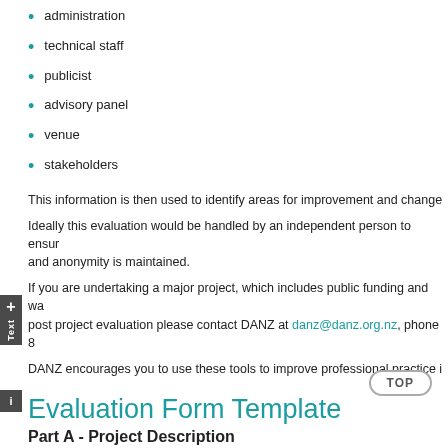administration
technical staff
publicist
advisory panel
venue
stakeholders
This information is then used to identify areas for improvement and change
Ideally this evaluation would be handled by an independent person to ensure and anonymity is maintained.
If you are undertaking a major project, which includes public funding and wa post project evaluation please contact DANZ at danz@danz.org.nz, phone 8
DANZ encourages you to use these tools to improve professional practice i
Evaluation Form Template
Part A - Project Description